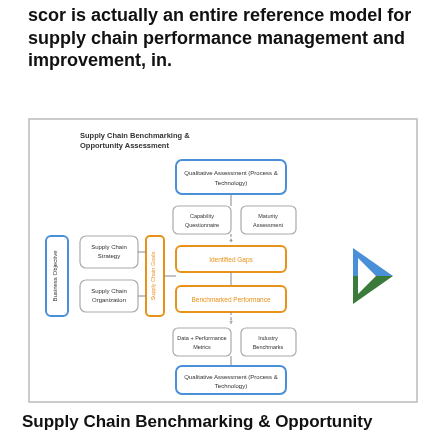scor is actually an entire reference model for supply chain performance management and improvement, in.
[Figure (flowchart): Supply Chain Benchmarking & Opportunity Assessment flowchart showing Business Objective, Supply Chain Strategy, Supply Chain Organization feeding into Supply Chain Goals, which connects to Qualitative Assessment (Process & Technology), Capability Questionnaire, Maturity Assessment, Identified Gaps, Benchmarked Performance, Data + Performance Metrics, Industry Benchmarks, and Qualitative Assessment (Process & Technology) at the bottom. A blue and green arrow chevron points right on the right side.]
Supply Chain Benchmarking & Opportunity